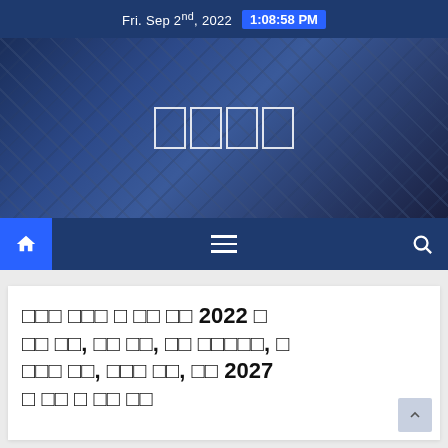Fri. Sep 2nd, 2022  1:08:58 PM
[Figure (photo): Hero banner showing upward view of glass skyscraper buildings with dark blue overlay and four white-outlined rectangular logo boxes in the center]
[Figure (infographic): Navigation bar with blue home icon button on left, hamburger menu in center, and search icon on right, all on dark navy background]
□□□ □□□ □ □□ □□ 2022 □ □□ □□, □□ □□, □□ □□□□□, □ □□□ □□, □□□ □□, □□ 2027 □ □□ □ □□ □□